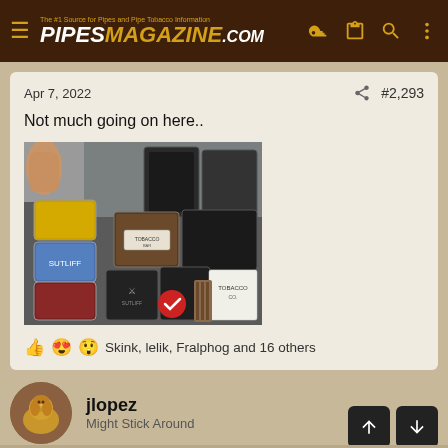The #1 Source for Pipes and Pipe Tobacco Information — PIPESMAGAZINE.COM
Apr 7, 2022   #2,293
Not much going on here..
[Figure (photo): Photo of various pipe tobacco tins, bags and packages laid out on a table. Multiple colored tins, black plastic bags, and labeled tobacco packages are visible.]
👍😍😲 Skink, lelik, Fralphog and 16 others
jlopez
Might Stick Around